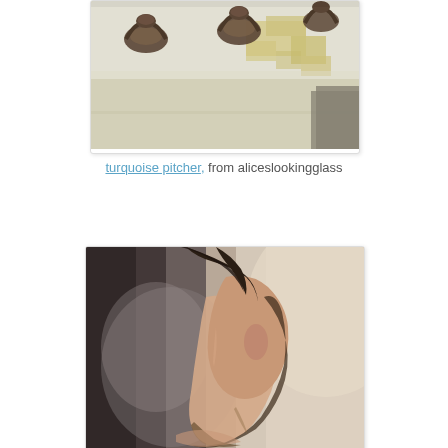[Figure (photo): Close-up photo of ornate antique metal drawer pulls/handles on a distressed white painted wooden surface with peeling paint.]
turquoise pitcher, from aliceslookingglass
[Figure (photo): Profile portrait photo of a young woman with dark hair, soft focus, looking to the right with a soft light background.]